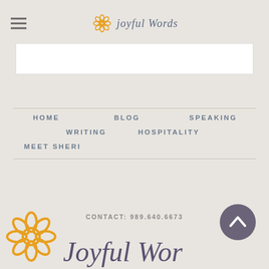Joyful Words
[Figure (logo): Joyful Words logo with orange flower and script text]
HOME
BLOG
SPEAKING
WRITING
HOSPITALITY
MEET SHERI
CONTACT: 989.640.6673
[Figure (logo): Large Joyful Words logo at bottom with orange flower and purple script text]